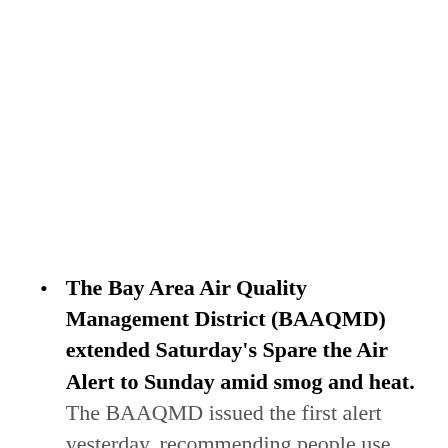The Bay Area Air Quality Management District (BAAQMD) extended Saturday's Spare the Air Alert to Sunday amid smog and heat. The BAAQMD issued the first alert yesterday, recommending people use their vehicles only when